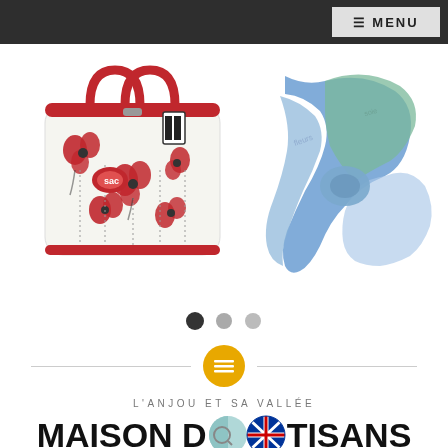[Figure (screenshot): Website screenshot with dark top navigation bar and MENU button in top right]
[Figure (photo): Red and white handbag with poppy flower pattern and red handles]
[Figure (photo): Blue and green silk scarf loosely draped]
[Figure (infographic): Slider navigation dots: one dark/active, two gray]
[Figure (infographic): Horizontal divider line with golden/yellow circular icon in center containing horizontal lines]
L'ANJOU ET SA VALLÉE
MAISON DE ARTISANS